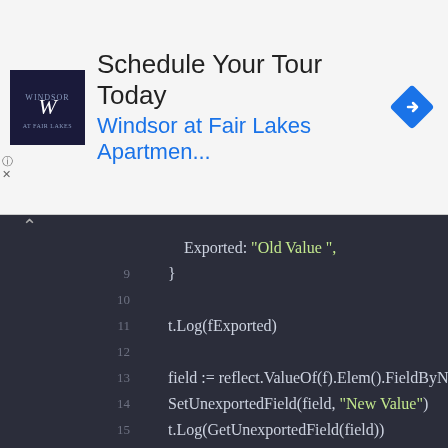[Figure (other): Advertisement banner for Windsor at Fair Lakes Apartments with logo and navigation icon]
[Figure (screenshot): Go source code editor showing lines 9-25 with syntax highlighting. Code includes t.Log, field assignment with reflect.ValueOf, SetUnexportedField, GetUnexportedField functions, and function definitions for GetUnexportedField and SetUnexportedField.]